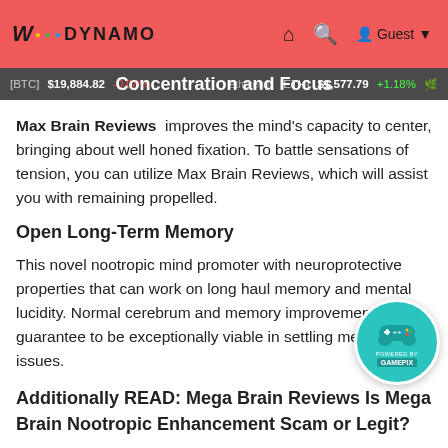WODYNAMO — Guest
[BTC] $19,884.82 -0.08% ... Concentration and Focus ... [ETH] $1,577.79 +1.18%
Max Brain Reviews   improves the mind's capacity to center, bringing about well honed fixation. To battle sensations of tension, you can utilize Max Brain Reviews, which will assist you with remaining propelled.
Open Long-Term Memory
This novel nootropic mind promoter with neuroprotective properties that can work on long haul memory and mental lucidity. Normal cerebrum and memory improvement tablets guarantee to be exceptionally viable in settling memory issues.
Additionally READ: Mega Brain Reviews Is Mega Brain Nootropic Enhancement Scam or Legit?